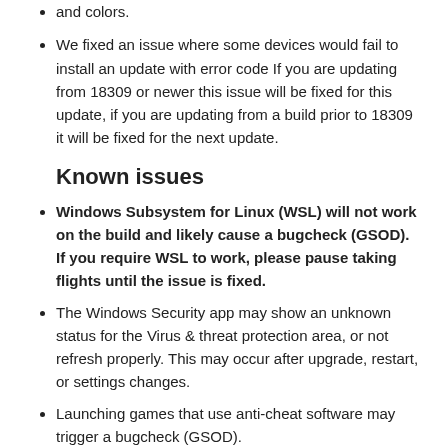and colors.
We fixed an issue where some devices would fail to install an update with error code If you are updating from 18309 or newer this issue will be fixed for this update, if you are updating from a build prior to 18309 it will be fixed for the next update.
Known issues
Windows Subsystem for Linux (WSL) will not work on the build and likely cause a bugcheck (GSOD). If you require WSL to work, please pause taking flights until the issue is fixed.
The Windows Security app may show an unknown status for the Virus & threat protection area, or not refresh properly. This may occur after upgrade, restart, or settings changes.
Launching games that use anti-cheat software may trigger a bugcheck (GSOD).